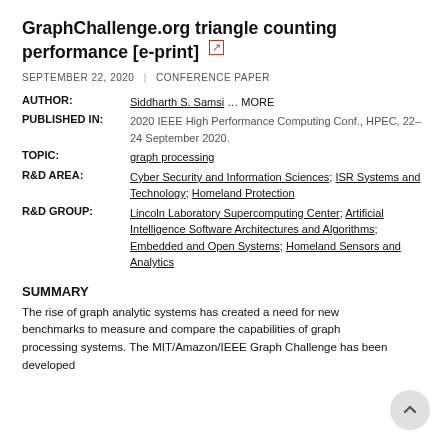GraphChallenge.org triangle counting performance [e-print]
SEPTEMBER 22, 2020  |  CONFERENCE PAPER
AUTHOR: Siddharth S. Samsi … MORE
PUBLISHED IN: 2020 IEEE High Performance Computing Conf., HPEC, 22–24 September 2020.
TOPIC: graph processing
R&D AREA: Cyber Security and Information Sciences; ISR Systems and Technology; Homeland Protection
R&D GROUP: Lincoln Laboratory Supercomputing Center; Artificial Intelligence Software Architectures and Algorithms; Embedded and Open Systems; Homeland Sensors and Analytics
SUMMARY
The rise of graph analytic systems has created a need for new benchmarks to measure and compare the capabilities of graph processing systems. The MIT/Amazon/IEEE Graph Challenge has been developed